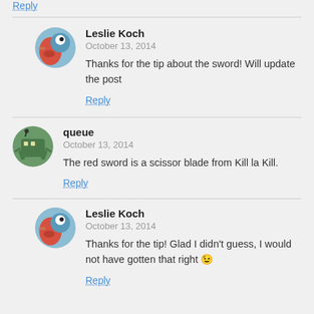Reply
Leslie Koch
October 13, 2014
Thanks for the tip about the sword! Will update the post
Reply
queue
October 13, 2014
The red sword is a scissor blade from Kill la Kill.
Reply
Leslie Koch
October 13, 2014
Thanks for the tip! Glad I didn't guess, I would not have gotten that right 😉
Reply